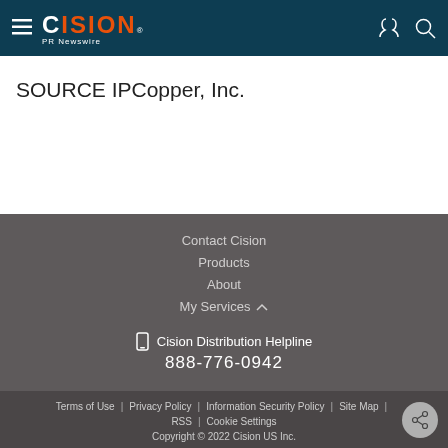CISION PR Newswire
SOURCE IPCopper, Inc.
Contact Cision
Products
About
My Services
Cision Distribution Helpline 888-776-0942
Terms of Use | Privacy Policy | Information Security Policy | Site Map | RSS | Cookie Settings Copyright © 2022 Cision US Inc.